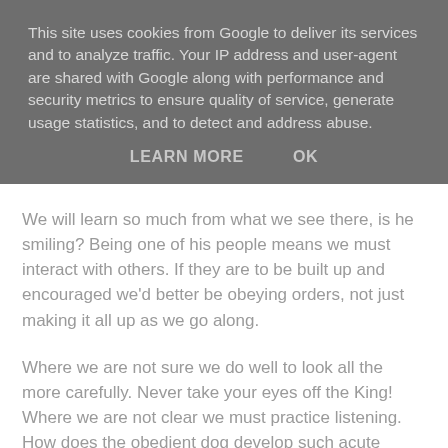This site uses cookies from Google to deliver its services and to analyze traffic. Your IP address and user-agent are shared with Google along with performance and security metrics to ensure quality of service, generate usage statistics, and to detect and address abuse.
LEARN MORE   OK
We will learn so much from what we see there, is he smiling? Being one of his people means we must interact with others. If they are to be built up and encouraged we'd better be obeying orders, not just making it all up as we go along.
Where we are not sure we do well to look all the more carefully. Never take your eyes off the King! Where we are not clear we must practice listening. How does the obedient dog develop such acute powers of observation and attention? By training, by practice. Practice hearing and seeing and you will get better at it. I promise you! Practice obedience and you will get better at that too. So that is our goal, to practice and practice and become more attuned to hearing and obeying.